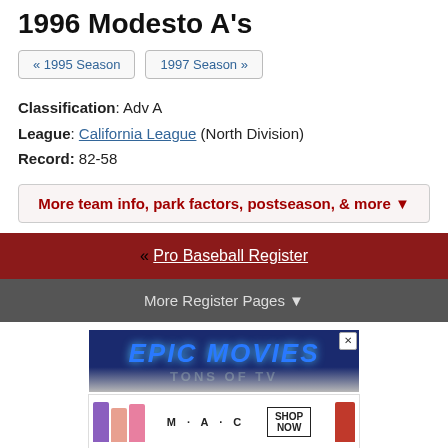1996 Modesto A's
« 1995 Season
1997 Season »
Classification: Adv A
League: California League (North Division)
Record: 82-58
More team info, park factors, postseason, & more ▼
« Pro Baseball Register
More Register Pages ▼
[Figure (photo): Advertisement banner: EPIC MOVIES / TONS OF TV]
[Figure (photo): Advertisement banner: M·A·C cosmetics with lipsticks, SHOP NOW]